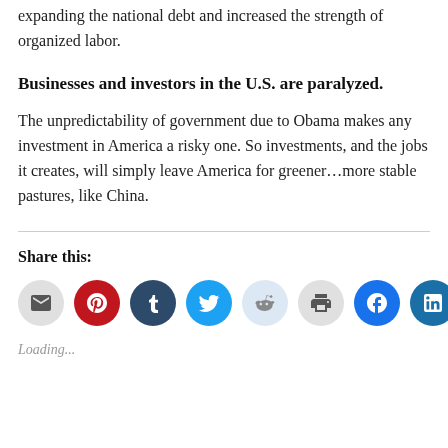expanding the national debt and increased the strength of organized labor.
Businesses and investors in the U.S. are paralyzed.
The unpredictability of government due to Obama makes any investment in America a risky one. So investments, and the jobs it creates, will simply leave America for greener…more stable pastures, like China.
Share this:
[Figure (infographic): Row of social media sharing icon buttons: email, Pinterest, Tumblr, Twitter, Reddit, Print, Facebook, LinkedIn, Pocket]
Loading...